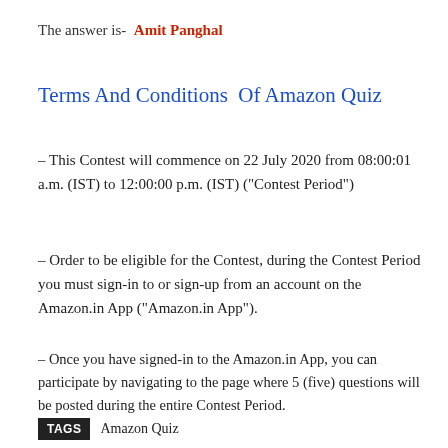The answer is-  Amit Panghal
Terms And Conditions  Of Amazon Quiz
– This Contest will commence on 22 July 2020 from 08:00:01 a.m. (IST) to 12:00:00 p.m. (IST) (“Contest Period”)
– Order to be eligible for the Contest, during the Contest Period you must sign-in to or sign-up from an account on the Amazon.in App (“Amazon.in App”).
– Once you have signed-in to the Amazon.in App, you can participate by navigating to the page where 5 (five) questions will be posted during the entire Contest Period.
TAGS  Amazon Quiz